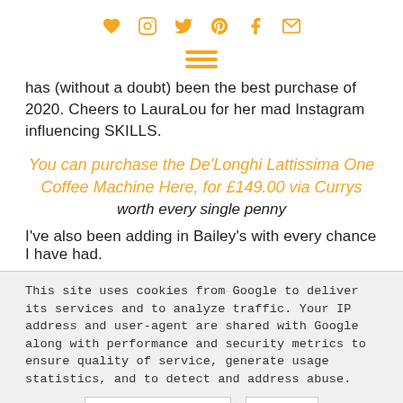Social icons: heart, instagram, twitter, pinterest, facebook, email
[Figure (other): Hamburger menu icon (three horizontal lines) in gold/amber color]
has (without a doubt) been the best purchase of 2020. Cheers to LauraLou for her mad Instagram influencing SKILLS.
You can purchase the De'Longhi Lattissima One Coffee Machine Here, for £149.00 via Currys
worth every single penny
I've also been adding in Bailey's with every chance I have had.
This site uses cookies from Google to deliver its services and to analyze traffic. Your IP address and user-agent are shared with Google along with performance and security metrics to ensure quality of service, generate usage statistics, and to detect and address abuse.
LEARN MORE   OK